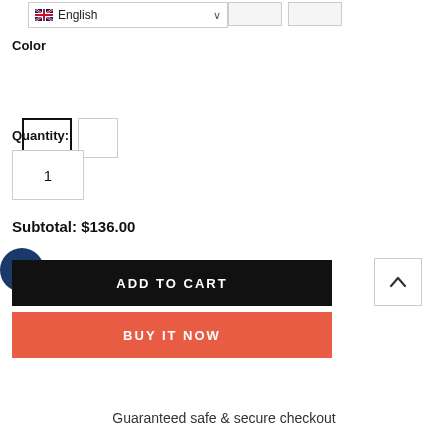English
Color
Quantity:
1
Subtotal: $136.00
ADD TO CART
BUY IT NOW
Guaranteed safe & secure checkout